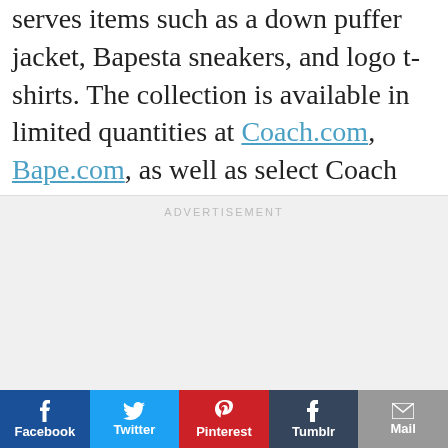serves items such as a down puffer jacket, Bapesta sneakers, and logo t-shirts. The collection is available in limited quantities at Coach.com, Bape.com, as well as select Coach and BAPE stores.
[Figure (other): Advertisement placeholder box with 'ADVERTISEMENT' label]
Facebook | Twitter | Pinterest | Tumblr | Mail